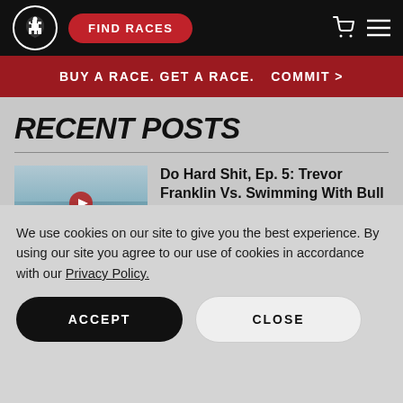[Figure (logo): Spartan Race logo: white spartan helmet in a circle, on black nav bar]
FIND RACES
BUY A RACE. GET A RACE.   COMMIT >
RECENT POSTS
[Figure (screenshot): Thumbnail image for post, showing a scene with overlaid text watermark 'AQUADPSUITS' and a red play button]
Do Hard Shit, Ep. 5: Trevor Franklin Vs. Swimming With Bull Sharks
We use cookies on our site to give you the best experience. By using our site you agree to our use of cookies in accordance with our Privacy Policy.
ACCEPT
CLOSE